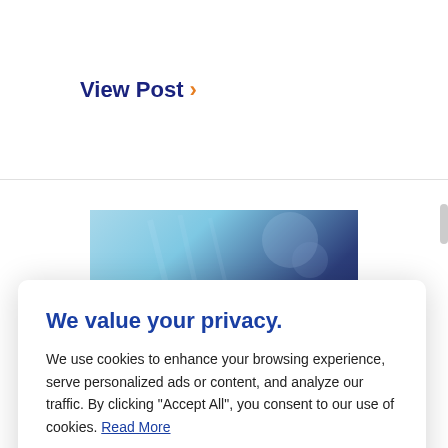View Post >
[Figure (screenshot): Article thumbnail image with blue-tinted background and dark overlay text reading: 'Improving Legal Case Outcomes with @RISK and PrecisionTree' and 'Part 4']
We value your privacy.
We use cookies to enhance your browsing experience, serve personalized ads or content, and analyze our traffic. By clicking "Accept All", you consent to our use of cookies. Read More
Cookie Settings
Accept All
series, settlement calculations can quickly become inundated with